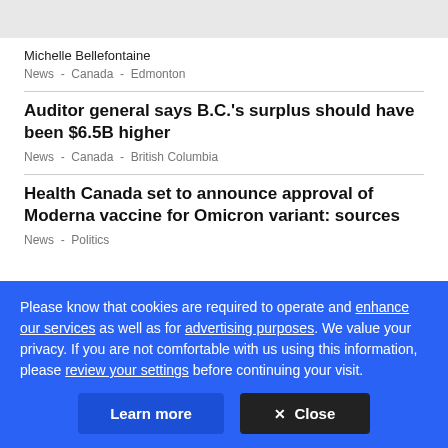Michelle Bellefontaine
News  -  Canada  -  Edmonton
Auditor general says B.C.'s surplus should have been $6.5B higher
News  -  Canada  -  British Columbia
Health Canada set to announce approval of Moderna vaccine for Omicron variant: sources
News  -  Politics
Please know that cookies are required to operate and enhance our services as well as for advertising purposes. We value your privacy. If you are not comfortable with us using this information, please review your settings before continuing your visit.